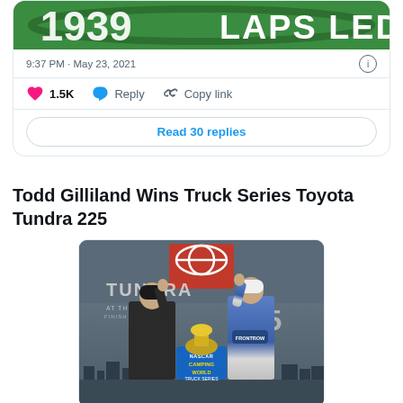[Figure (screenshot): Top portion of a Twitter/X post showing a green racetrack image with 'LAPS LED' text in white]
9:37 PM · May 23, 2021
1.5K   Reply   Copy link
Read 30 replies
Todd Gilliland Wins Truck Series Toyota Tundra 225
[Figure (photo): Two people posing with a trophy in front of a NASCAR Tundra 325 backdrop with Toyota logo and NASCAR Camping World Truck Series branding]